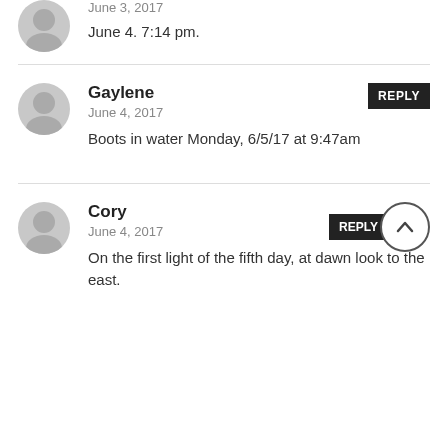June 3, 2017
June 4. 7:14 pm.
Gaylene
June 4, 2017
Boots in water Monday, 6/5/17 at 9:47am
Cory
June 4, 2017
On the first light of the fifth day, at dawn look to the east.